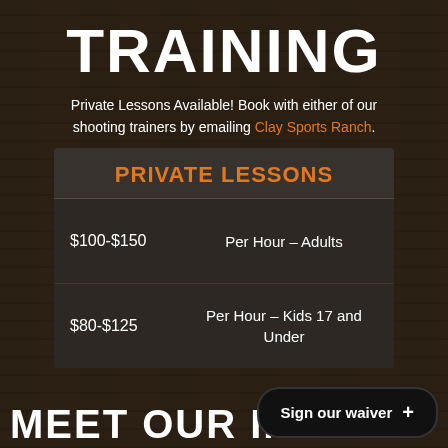TRAINING
Private Lessons Available! Book with either of our shooting trainers by emailing Clay Sports Ranch.
| PRIVATE LESSONS |  |
| --- | --- |
| $100-$150 | Per Hour – Adults |
| $80-$125 | Per Hour – Kids 17 and Under |
MEET OUR IN
Sign our waiver +